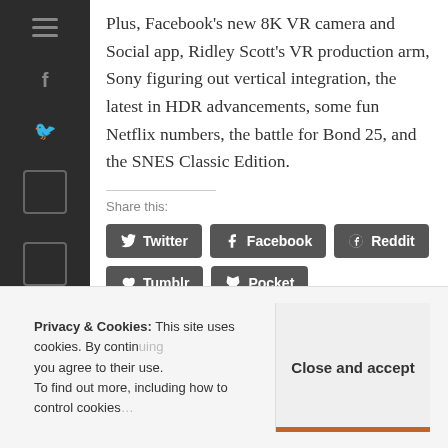Plus, Facebook's new 8K VR camera and Social app, Ridley Scott's VR production arm, Sony figuring out vertical integration, the latest in HDR advancements, some fun Netflix numbers, the battle for Bond 25, and the SNES Classic Edition.
Share this:
Twitter Facebook Reddit Tumblr Pocket
Loading...
Privacy & Cookies: This site uses cookies. By contin... you agree to their use. To find out more, including how to control cookies...
Close and accept